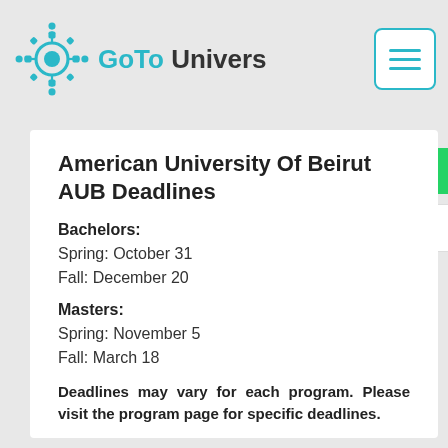GoTo University
American University Of Beirut AUB Deadlines
Bachelors:
Spring: October 31
Fall: December 20
Masters:
Spring: November 5
Fall: March 18
Deadlines may vary for each program. Please visit the program page for specific deadlines.
Read more about application deadlines